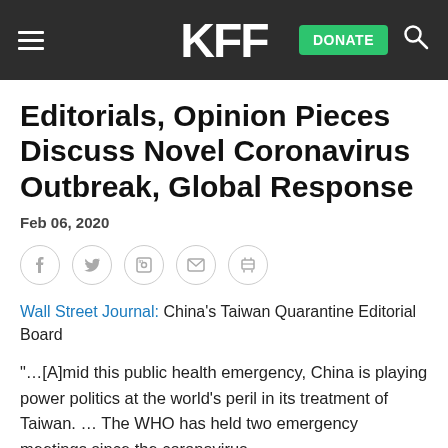KFF | DONATE
Editorials, Opinion Pieces Discuss Novel Coronavirus Outbreak, Global Response
Feb 06, 2020
[Figure (other): Social sharing icons: Facebook, Twitter, LinkedIn, Email, Print]
Wall Street Journal: China's Taiwan Quarantine Editorial Board
"…[A]mid this public health emergency, China is playing power politics at the world's peril in its treatment of Taiwan. … The WHO has held two emergency meetings since the coronavirus